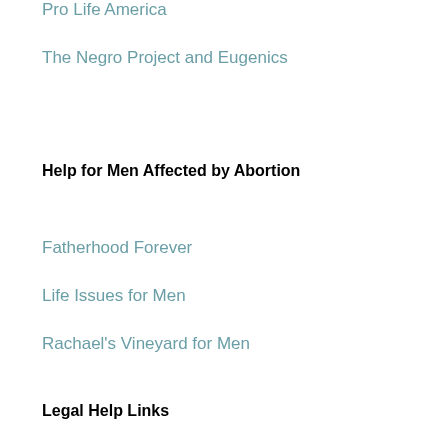Pro Life America
The Negro Project and Eugenics
Help for Men Affected by Abortion
Fatherhood Forever
Life Issues for Men
Rachael's Vineyard for Men
Legal Help Links